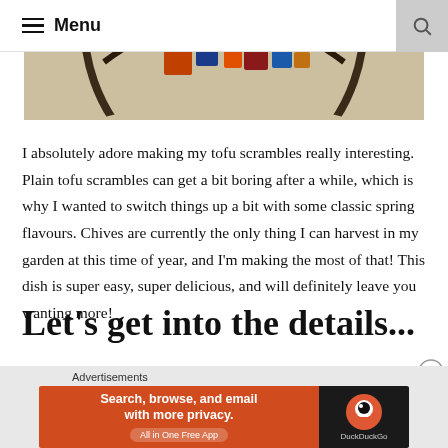Menu
[Figure (photo): Partial view of a decorative mosaic plate or clock on a wall, showing colorful geometric tiles in blue, orange, red on a beige/cream stucco background.]
I absolutely adore making my tofu scrambles really interesting. Plain tofu scrambles can get a bit boring after a while, which is why I wanted to switch things up a bit with some classic spring flavours. Chives are currently the only thing I can harvest in my garden at this time of year, and I'm making the most of that! This dish is super easy, super delicious, and will definitely leave you wanting more!
Let's get into the details...
[Figure (screenshot): DuckDuckGo advertisement banner: orange left side with text 'Search, browse, and email with more privacy. All in One Free App' and dark right side with DuckDuckGo duck logo and brand name.]